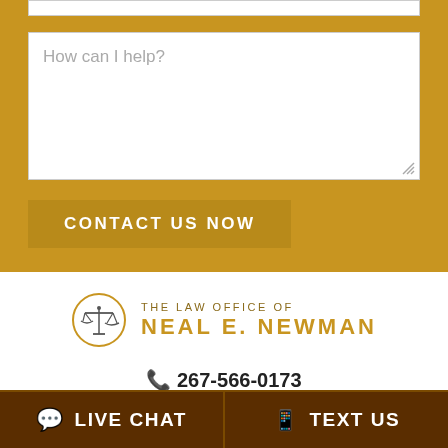[Figure (screenshot): Contact form partial view with gold background, showing a textarea with placeholder 'How can I help?' and a 'CONTACT US NOW' button]
[Figure (logo): The Law Office of Neal E. Newman logo with scales of justice in a circle]
267-566-0173
86 Buck Rd, Holland, PA 18966
LIVE CHAT
TEXT US